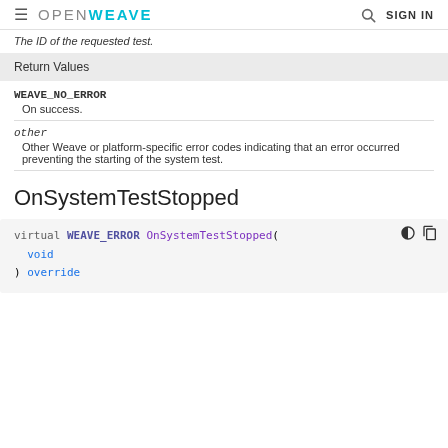≡ OPENWEAVE 🔍 SIGN IN
The ID of the requested test.
| Return Values |
| --- |
| WEAVE_NO_ERROR | On success. |
| other | Other Weave or platform-specific error codes indicating that an error occurred preventing the starting of the system test. |
OnSystemTestStopped
virtual WEAVE_ERROR OnSystemTestStopped(
  void
) override